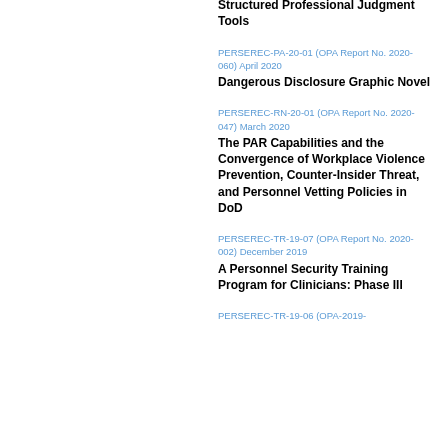2020
Structured Professional Judgment Tools
PERSEREC-PA-20-01 (OPA Report No. 2020-060) April 2020
Dangerous Disclosure Graphic Novel
PERSEREC-RN-20-01 (OPA Report No. 2020-047) March 2020
The PAR Capabilities and the Convergence of Workplace Violence Prevention, Counter-Insider Threat, and Personnel Vetting Policies in DoD
PERSEREC-TR-19-07 (OPA Report No. 2020-002) December 2019
A Personnel Security Training Program for Clinicians: Phase III
PERSEREC-TR-19-06 (OPA-2019-